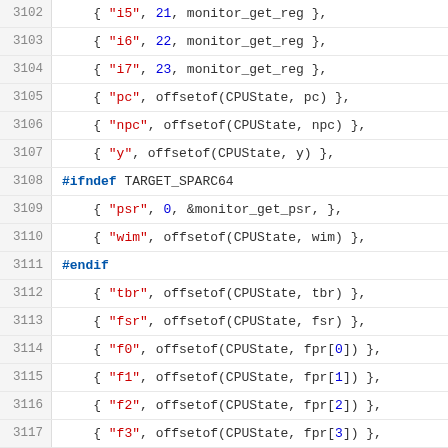Source code listing lines 3102-3126 showing C array initialization with register names and offsets for SPARC CPU state structure
3102    { "i5", 21, monitor_get_reg },
3103    { "i6", 22, monitor_get_reg },
3104    { "i7", 23, monitor_get_reg },
3105    { "pc", offsetof(CPUState, pc) },
3106    { "npc", offsetof(CPUState, npc) },
3107    { "y", offsetof(CPUState, y) },
3108 #ifndef TARGET_SPARC64
3109    { "psr", 0, &monitor_get_psr, },
3110    { "wim", offsetof(CPUState, wim) },
3111 #endif
3112    { "tbr", offsetof(CPUState, tbr) },
3113    { "fsr", offsetof(CPUState, fsr) },
3114    { "f0", offsetof(CPUState, fpr[0]) },
3115    { "f1", offsetof(CPUState, fpr[1]) },
3116    { "f2", offsetof(CPUState, fpr[2]) },
3117    { "f3", offsetof(CPUState, fpr[3]) },
3118    { "f4", offsetof(CPUState, fpr[4]) },
3119    { "f5", offsetof(CPUState, fpr[5]) },
3120    { "f6", offsetof(CPUState, fpr[6]) },
3121    { "f7", offsetof(CPUState, fpr[7]) },
3122    { "f8", offsetof(CPUState, fpr[8]) },
3123    { "f9", offsetof(CPUState, fpr[9]) },
3124    { "f10", offsetof(CPUState, fpr[10]) },
3125    { "f11", offsetof(CPUState, fpr[11]) },
3126    { "f12", offsetof(CPUState, fpr[12]) },